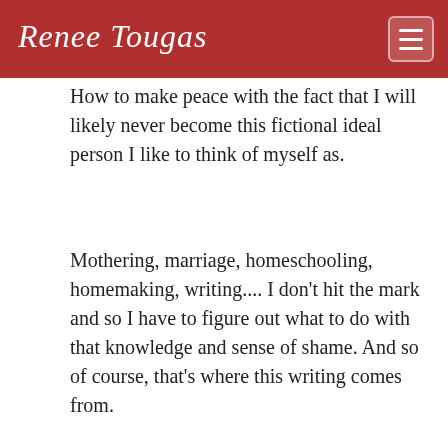Renee Tougas
How to make peace with the fact that I will likely never become this fictional ideal person I like to think of myself as.
Mothering, marriage, homeschooling, homemaking, writing.... I don't hit the mark and so I have to figure out what to do with that knowledge and sense of shame. And so of course, that's where this writing comes from.
reply
Heather A on Aug. 26, 2016, 3:55 p.m.
Beautiful post. Thank you for sharing